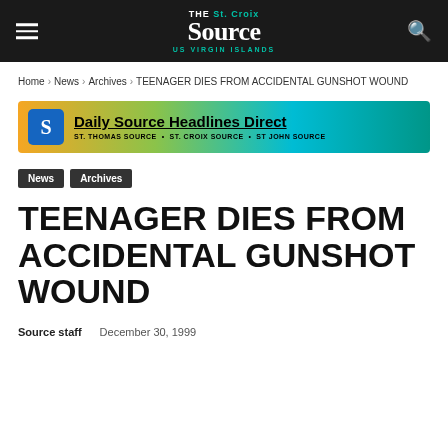THE St. Croix Source US VIRGIN ISLANDS
Home › News › Archives › TEENAGER DIES FROM ACCIDENTAL GUNSHOT WOUND
[Figure (infographic): Daily Source Headlines Direct banner with gradient background (orange to teal). Shows S logo icon, headline text 'Daily Source Headlines Direct', and subline 'ST. THOMAS SOURCE • ST. CROIX SOURCE • ST JOHN SOURCE']
News
Archives
TEENAGER DIES FROM ACCIDENTAL GUNSHOT WOUND
Source staff    December 30, 1999